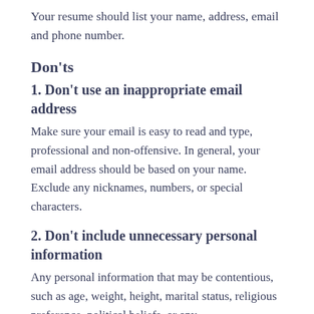Your resume should list your name, address, email and phone number.
Don'ts
1. Don't use an inappropriate email address
Make sure your email is easy to read and type, professional and non-offensive. In general, your email address should be based on your name. Exclude any nicknames, numbers, or special characters.
2. Don't include unnecessary personal information
Any personal information that may be contentious, such as age, weight, height, marital status, religious preference, political beliefs, or any